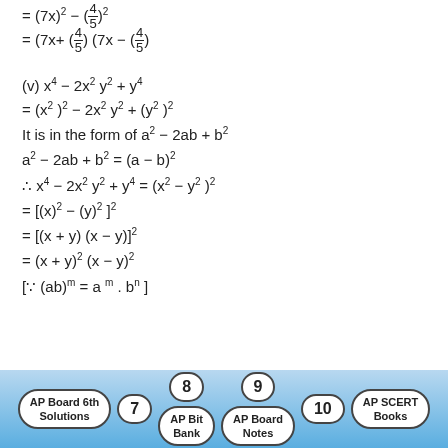(v) x^4 − 2x^2 y^2 + y^4
It is in the form of a^2 − 2ab + b^2
AP Board 6th Solutions | 7 | 8 | AP Bit Bank | 9 | AP Board Notes | 10 | AP SCERT Books